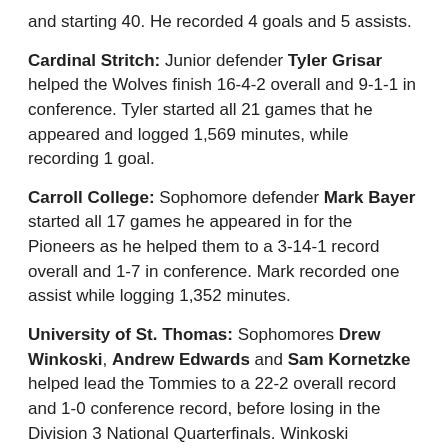and starting 40. He recorded 4 goals and 5 assists.
Cardinal Stritch: Junior defender Tyler Grisar helped the Wolves finish 16-4-2 overall and 9-1-1 in conference. Tyler started all 21 games that he appeared and logged 1,569 minutes, while recording 1 goal.
Carroll College: Sophomore defender Mark Bayer started all 17 games he appeared in for the Pioneers as he helped them to a 3-14-1 record overall and 1-7 in conference. Mark recorded one assist while logging 1,352 minutes.
University of St. Thomas: Sophomores Drew Winkoski, Andrew Edwards and Sam Kornetzke helped lead the Tommies to a 22-2 overall record and 1-0 conference record, before losing in the Division 3 National Quarterfinals. Winkoski appeared in 14 games and recorded 14 shots on goal.  Kornetzke appeared in two games, starting one.